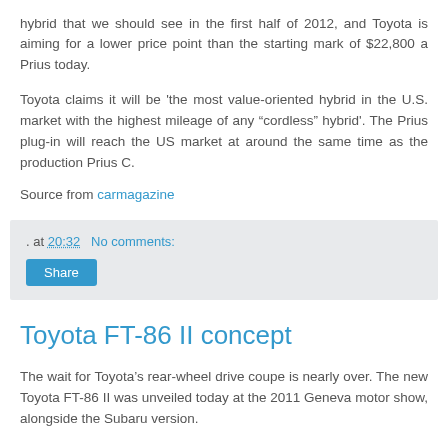hybrid that we should see in the first half of 2012, and Toyota is aiming for a lower price point than the starting mark of $22,800 a Prius today.
Toyota claims it will be 'the most value-oriented hybrid in the U.S. market with the highest mileage of any “cordless” hybrid'. The Prius plug-in will reach the US market at around the same time as the production Prius C.
Source from carmagazine
. at 20:32   No comments:
Toyota FT-86 II concept
The wait for Toyota’s rear-wheel drive coupe is nearly over. The new Toyota FT-86 II was unveiled today at the 2011 Geneva motor show, alongside the Subaru version.